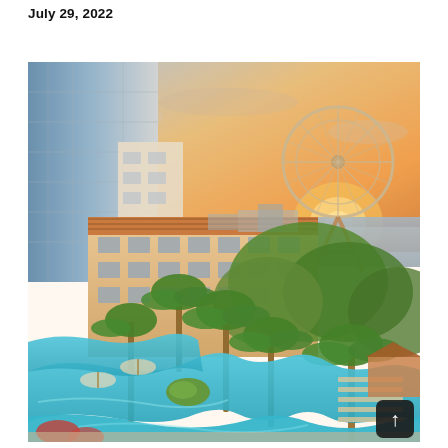July 29, 2022
[Figure (photo): Aerial view of a luxury hotel resort with winding blue swimming pools surrounded by palm trees, a Mediterranean-style hotel building, lush green gardens, and a large Ferris wheel (Ain Dubai) visible in the background near the waterfront at sunset. A tall modern glass tower is visible on the left side.]